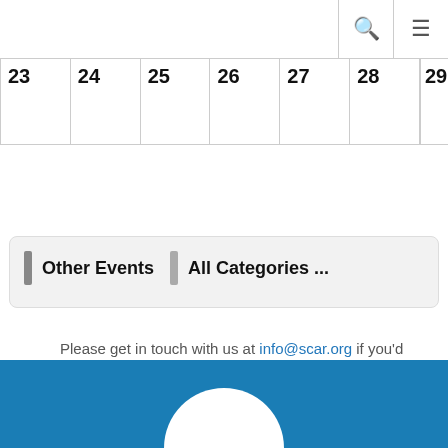🔍 ≡
| 23 | 24 | 25 | 26 | 27 | 28 | 29 |
| --- | --- | --- | --- | --- | --- | --- |
|  |
Other Events  All Categories ...
Please get in touch with us at info@scar.org if you'd like to advertise an event.
[Figure (logo): SCAR logo white arc on blue footer background]